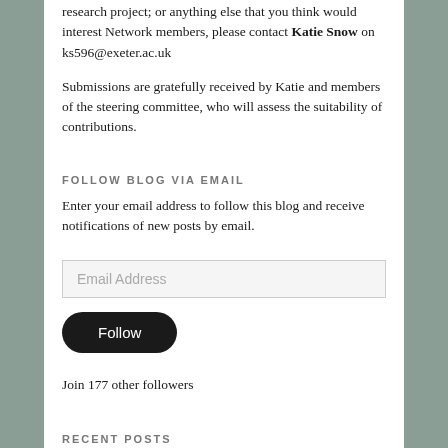research project; or anything else that you think would interest Network members, please contact Katie Snow on ks596@exeter.ac.uk
Submissions are gratefully received by Katie and members of the steering committee, who will assess the suitability of contributions.
FOLLOW BLOG VIA EMAIL
Enter your email address to follow this blog and receive notifications of new posts by email.
Email Address
Follow
Join 177 other followers
RECENT POSTS
An Illustrated Antislavery Song: Music with a Mission?